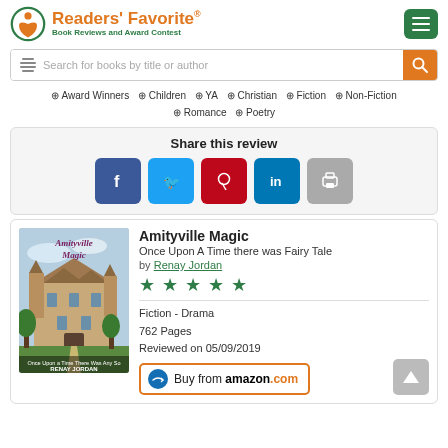[Figure (logo): Readers' Favorite logo with orange book icon, orange title text and green subtitle 'Book Reviews and Award Contest', green hamburger menu button top right]
[Figure (screenshot): Search bar with stack-of-books icon and placeholder text 'Search for books by title or author', orange search button]
⊕ Award Winners  ⊕ Children  ⊕ YA  ⊕ Christian  ⊕ Fiction  ⊕ Non-Fiction  ⊕ Romance  ⊕ Poetry
Share this review
[Figure (infographic): Social share buttons: Facebook (blue), Twitter (light blue), Pinterest (red), LinkedIn (blue), Print (grey)]
[Figure (photo): Book cover of 'Amityville Magic: Once Upon A Time There Was Any So' by Renay Jordan, showing a large gothic mansion]
Amityville Magic
Once Upon A Time there was Fairy Tale
by Renay Jordan
[Figure (infographic): 5 green star rating]
Fiction - Drama
762 Pages
Reviewed on 05/09/2019
[Figure (infographic): Buy from amazon.com button with orange Amazon arrow logo]